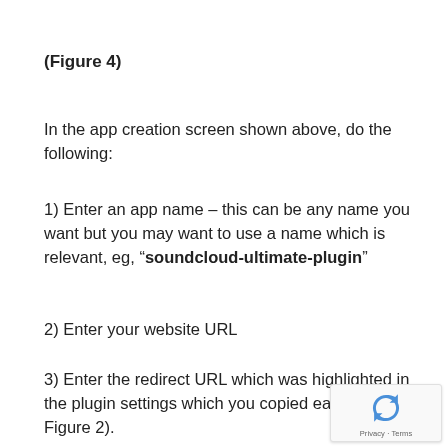(Figure 4)
In the app creation screen shown above, do the following:
1) Enter an app name – this can be any name you want but you may want to use a name which is relevant, eg, “soundcloud-ultimate-plugin”
2) Enter your website URL
3) Enter the redirect URL which was highlighted in the plugin settings which you copied earlier (Figure 2).